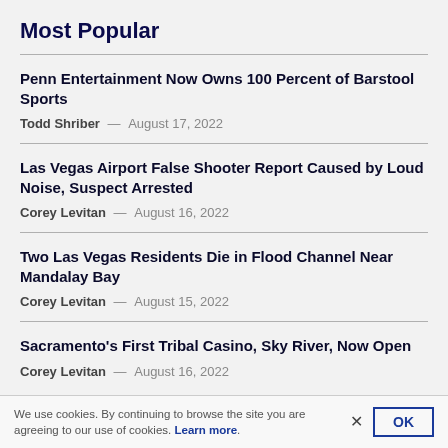Most Popular
Penn Entertainment Now Owns 100 Percent of Barstool Sports
Todd Shriber — August 17, 2022
Las Vegas Airport False Shooter Report Caused by Loud Noise, Suspect Arrested
Corey Levitan — August 16, 2022
Two Las Vegas Residents Die in Flood Channel Near Mandalay Bay
Corey Levitan — August 15, 2022
Sacramento's First Tribal Casino, Sky River, Now Open
Corey Levitan — August 16, 2022
We use cookies. By continuing to browse the site you are agreeing to our use of cookies. Learn more.